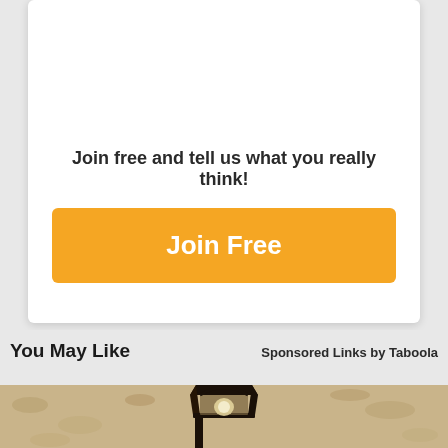Join free and tell us what you really think!
Join Free
You May Like
Sponsored Links by Taboola
[Figure (photo): Outdoor lantern-style wall light mounted on a textured stucco wall, sepia-toned photograph]